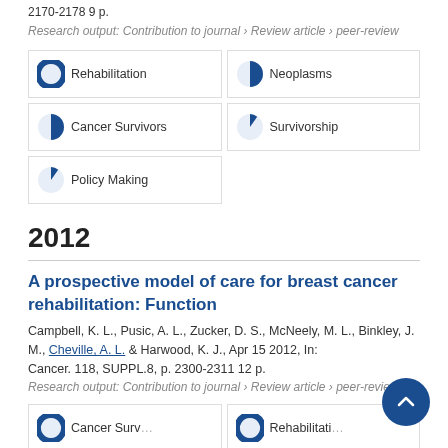2170-2178 9 p.
Research output: Contribution to journal › Review article › peer-review
[Figure (infographic): Five keyword badges with circular percentage indicators: Rehabilitation 100%, Neoplasms ~50%, Cancer Survivors ~50%, Survivorship ~20%, Policy Making ~20%]
2012
A prospective model of care for breast cancer rehabilitation: Function
Campbell, K. L., Pusic, A. L., Zucker, D. S., McNeely, M. L., Binkley, J. M., Cheville, A. L. & Harwood, K. J., Apr 15 2012, In: Cancer. 118, SUPPL.8, p. 2300-2311 12 p.
Research output: Contribution to journal › Review article › peer-review
[Figure (infographic): Two partially visible keyword badges at the bottom: Cancer Survivors and Rehabilitation, both at ~100%]